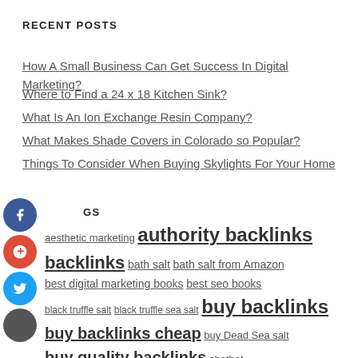RECENT POSTS
How A Small Business Can Get Success In Digital Marketing?
Where to Find a 24 x 18 Kitchen Sink?
What Is An Ion Exchange Resin Company?
What Makes Shade Covers in Colorado so Popular?
Things To Consider When Buying Skylights For Your Home
aesthetic marketing authority backlinks backlinks bath salt bath salt from Amazon best digital marketing books best seo books black truffle salt black truffle sea salt buy backlinks buy backlinks cheap buy Dead Sea salt buy quality backlinks chatbot Chatbot Messenger Dead Sea salt Dead Sea salt from Amazon digital marketing agency digital marketing book Facebook Bot